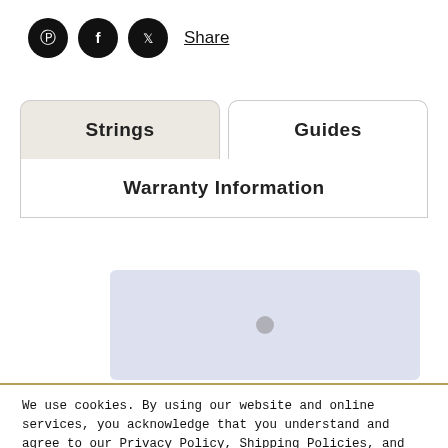[Figure (other): Social share bar with Pinterest, Facebook, Twitter icons and Share link]
Strings
Guides
Warranty Information
[Figure (photo): Light blue-grey rectangular product image with a small circular button/stud in the center]
We use cookies. By using our website and online services, you acknowledge that you understand and agree to our Privacy Policy, Shipping Policies, and Terms & Conditions of Sale.
YES